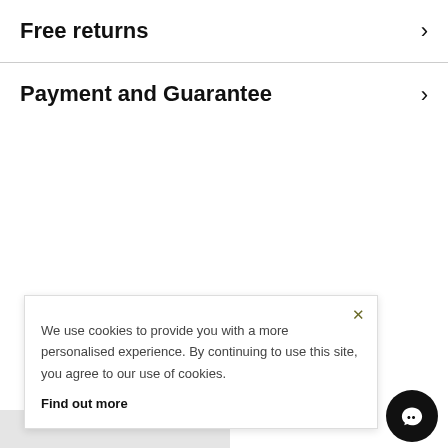Free returns
Payment and Guarantee
We use cookies to provide you with a more personalised experience. By continuing to use this site, you agree to our use of cookies. Find out more